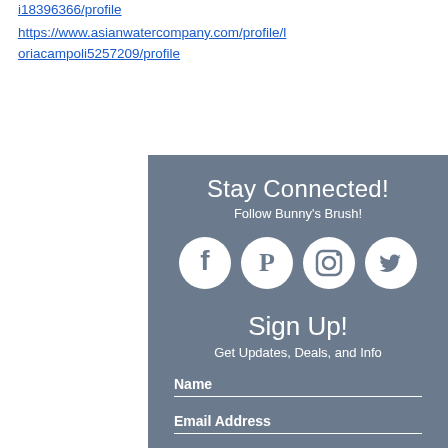i18396366/profile https://www.asianwatercompany.com/profile/loriacampoli5257209/profile
[Figure (infographic): Gray banner with social media icons (Facebook, Pinterest, Instagram, Twitter), Stay Connected message, Follow Bunny's Brush, Sign Up section with Name and Email Address form fields]
Stay Connected!
Follow Bunny's Brush!
Sign Up!
Get Updates, Deals, and Info
Name
Email Address